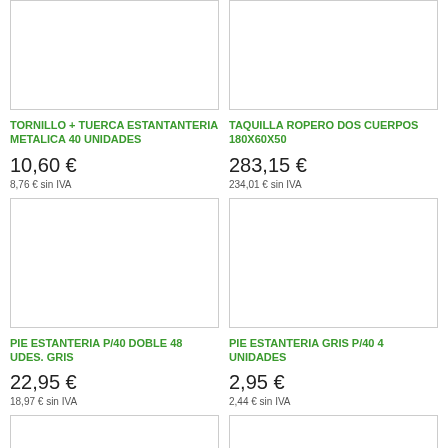[Figure (photo): Product image for TORNILLO + TUERCA ESTANTANTERIA METALICA 40 UNIDADES]
[Figure (photo): Product image for TAQUILLA ROPERO DOS CUERPOS 180X60X50]
TORNILLO + TUERCA ESTANTANTERIA METALICA 40 UNIDADES
TAQUILLA ROPERO DOS CUERPOS 180X60X50
10,60 €
283,15 €
8,76 € sin IVA
234,01 € sin IVA
[Figure (photo): Product image for PIE ESTANTERIA P/40 DOBLE 48 UDES. GRIS]
[Figure (photo): Product image for PIE ESTANTERIA GRIS P/40 4 UNIDADES]
PIE ESTANTERIA P/40 DOBLE 48 UDES. GRIS
PIE ESTANTERIA GRIS P/40 4 UNIDADES
22,95 €
2,95 €
18,97 € sin IVA
2,44 € sin IVA
[Figure (photo): Product image (partial, bottom left)]
[Figure (photo): Product image (partial, bottom right)]